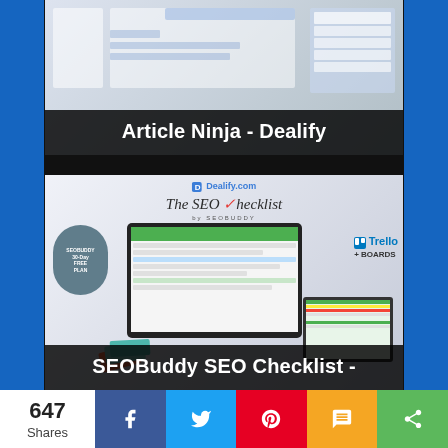[Figure (screenshot): Article Ninja - Dealify product screenshot showing a web interface with sidebar navigation and document editing UI]
Article Ninja - Dealify
[Figure (screenshot): SEOBuddy SEO Checklist - Dealify product screenshot showing Dealify.com logo, 'The SEO Checklist by SEOBUDDY' title, laptop with spreadsheet, book materials with '30-Day FREE PLAN' badge, tablet with spreadsheet, and Trello + Boards branding]
SEOBuddy SEO Checklist -
647 Shares